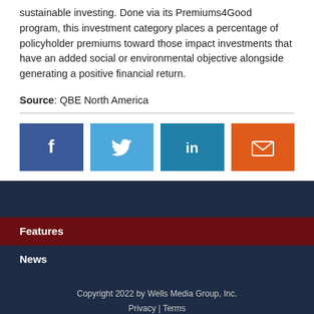sustainable investing. Done via its Premiums4Good program, this investment category places a percentage of policyholder premiums toward those impact investments that have an added social or environmental objective alongside generating a positive financial return.
Source: QBE North America
[Figure (infographic): Four social sharing buttons: Facebook (dark blue), Twitter (light blue), LinkedIn (teal blue), Email (orange), each with white icons]
Features
News
Copyright 2022 by Wells Media Group, Inc. Privacy | Terms